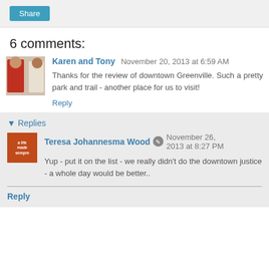Share
6 comments:
Karen and Tony November 20, 2013 at 6:59 AM
Thanks for the review of downtown Greenville. Such a pretty park and trail - another place for us to visit!
Reply
Replies
Teresa Johannesma Wood November 26, 2013 at 8:27 PM
Yup - put it on the list - we really didn't do the downtown justice - a whole day would be better..
Reply